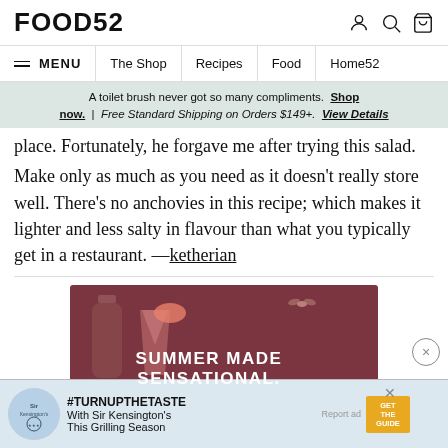FOOD52
≡ MENU  |  The Shop  |  Recipes  |  Food  |  Home52
A toilet brush never got so many compliments. Shop now.  |  Free Standard Shipping on Orders $149+.  View Details
place. Fortunately, he forgave me after trying this salad. Make only as much as you need as it doesn't really store well. There's no anchovies in this recipe; which makes it lighter and less salty in flavour than what you typically get in a restaurant. —ketherian
[Figure (photo): Advertisement banner showing a bottle and cocktail drink with text 'SUMMER MADE SENSATIONAL.' on a dark red/maroon background]
[Figure (photo): Bottom advertisement banner: Sir Kensington's ad with text '#TURNUPTHETASTE With Sir Kensington's This Grilling Season', with GET THE GUIDE button]